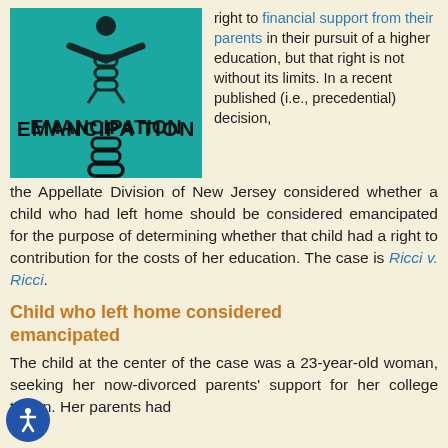[Figure (illustration): Teal square image with a broken chain and the text EMANCIPATION in bold black letters, with a figure above]
right to financial support from their parents in their pursuit of a higher education, but that right is not without its limits. In a recent published (i.e., precedential) decision, the Appellate Division of New Jersey considered whether a child who had left home should be considered emancipated for the purpose of determining whether that child had a right to contribution for the costs of her education. The case is Ricci v. Ricci.
Child who left home considered emancipated
The child at the center of the case was a 23-year-old woman, seeking her now-divorced parents' support for her college tuition. Her parents had